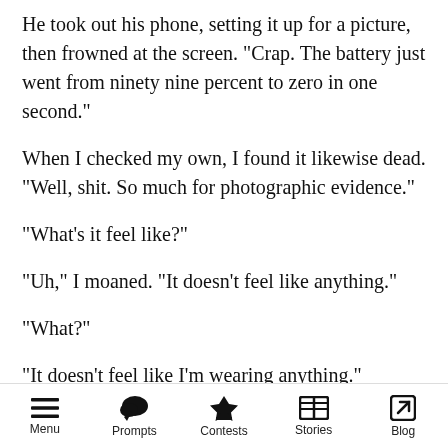He took out his phone, setting it up for a picture, then frowned at the screen. "Crap. The battery just went from ninety nine percent to zero in one second."
When I checked my own, I found it likewise dead. "Well, shit. So much for photographic evidence."
"What's it feel like?"
"Uh," I moaned. "It doesn't feel like anything."
"What?"
"It doesn't feel like I'm wearing anything"
Menu  Prompts  Contests  Stories  Blog